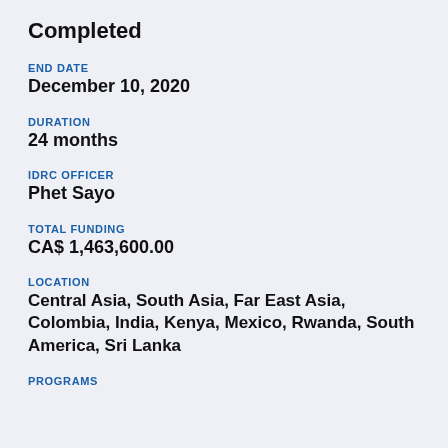Completed
END DATE
December 10, 2020
DURATION
24 months
IDRC OFFICER
Phet Sayo
TOTAL FUNDING
CA$ 1,463,600.00
LOCATION
Central Asia, South Asia, Far East Asia, Colombia, India, Kenya, Mexico, Rwanda, South America, Sri Lanka
PROGRAMS